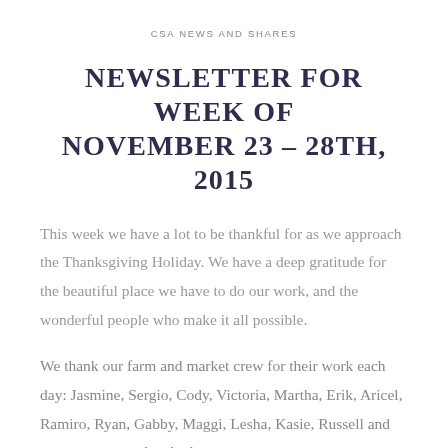CSA NEWS AND SHARES
NEWSLETTER FOR WEEK OF NOVEMBER 23 – 28TH, 2015
This week we have a lot to be thankful for as we approach the Thanksgiving Holiday. We have a deep gratitude for the beautiful place we have to do our work, and the wonderful people who make it all possible.
We thank our farm and market crew for their work each day: Jasmine, Sergio, Cody, Victoria, Martha, Erik, Aricel, Ramiro, Ryan, Gabby, Maggi, Lesha, Kasie, Russell and many more people who have